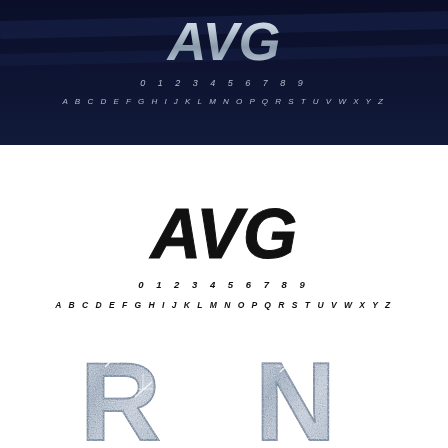[Figure (illustration): Dark navy banner showing stylized italic 'AVG' logo text in silver/chrome gradient, with digit row '0 1 2 3 4 5 6 7 8 9' and alphabet row 'A B C D E F G H I J K L M N O P Q R S T U V W X Y Z' in silver italic font below]
[Figure (illustration): White background section showing bold black italic 'AVG' logo in aggressive condensed style, with digit row '0 1 2 3 4 5 6 7 8 9' and alphabet row 'A B C D E F G H I J K L M N O P Q R S T U V W X Y Z' in bold black italic font below]
[Figure (illustration): Two large letters 'R' and 'N' rendered with silver glitter/diamond texture effect on white background, with metallic border outline]